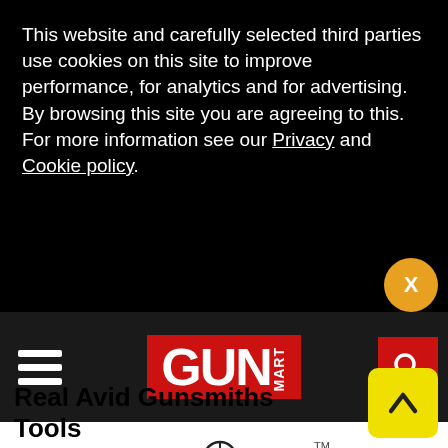This website and carefully selected third parties use cookies on this site to improve performance, for analytics and for advertising. By browsing this site you are agreeing to this. For more information see our Privacy and Cookie policy.
[Figure (logo): GUN MART logo in white text on red background in navigation bar]
[Figure (logo): SPYPOINT logo in orange and black text with crosshair icon]
Real Avid Gunsmiths Tools